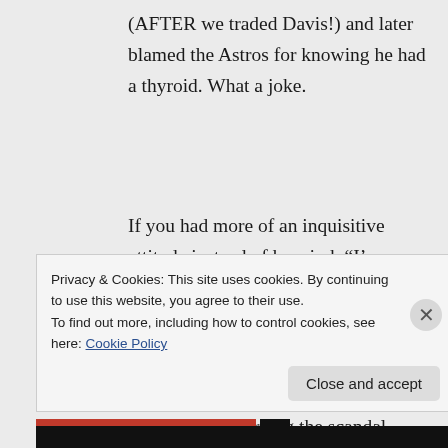(AFTER we traded Davis!) and later blamed the Astros for knowing he had a thyroid. What a joke.
If you had more of an inquisitive attitude instead of kneejerk “I’m a cynic,” then maybe you’d be met with a different response.
Virtually every post I’ve left here has a purpose. Regarding the scandal,
Privacy & Cookies: This site uses cookies. By continuing to use this website, you agree to their use.
To find out more, including how to control cookies, see here: Cookie Policy
Close and accept